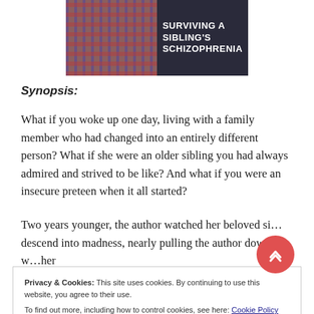[Figure (photo): Book cover image showing plaid clothing on the left and dark background with bold white text reading 'SURVIVING A SIBLING'S SCHIZOPHRENIA' on the right]
Synopsis:
What if you woke up one day, living with a family member who had changed into an entirely different person? What if she were an older sibling you had always admired and strived to be like? And what if you were an insecure preteen when it all started?
Privacy & Cookies: This site uses cookies. By continuing to use this website, you agree to their use.
To find out more, including how to control cookies, see here: Cookie Policy
Close and accept
Two years younger, the author watched her beloved si… descend into madness, nearly pulling the author down with her into a shadowy and baffling black hole of despair.